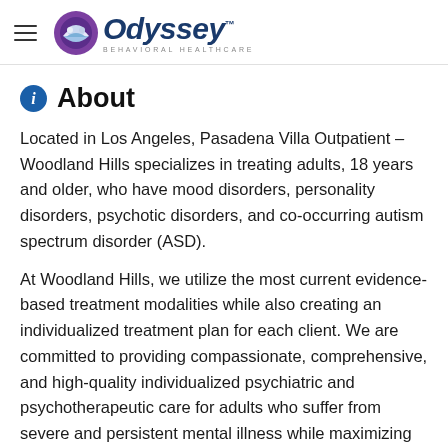Odyssey Behavioral Healthcare
About
Located in Los Angeles, Pasadena Villa Outpatient – Woodland Hills specializes in treating adults, 18 years and older, who have mood disorders, personality disorders, psychotic disorders, and co-occurring autism spectrum disorder (ASD).
At Woodland Hills, we utilize the most current evidence-based treatment modalities while also creating an individualized treatment plan for each client. We are committed to providing compassionate, comprehensive, and high-quality individualized psychiatric and psychotherapeutic care for adults who suffer from severe and persistent mental illness while maximizing social